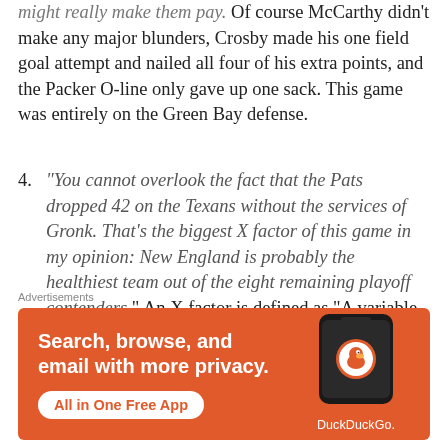might really make them pay. Of course McCarthy didn't make any major blunders, Crosby made his one field goal attempt and nailed all four of his extra points, and the Packer O-line only gave up one sack. This game was entirely on the Green Bay defense.
4. “You cannot overlook the fact that the Pats dropped 42 on the Texans without the services of Gronk. That’s the biggest X factor of this game in my opinion: New England is probably the healthiest team out of the eight remaining playoff contenders.” An X factor is defined as “A variable in a situation that could have the most significant impact on the outcome.” Not only did my “Patriots
Advertisements
[Figure (illustration): DuckDuckGo advertisement banner on orange background. Text reads: Search, browse, and email with more privacy. All in One Free App. Shows a phone graphic with DuckDuckGo logo and text.]